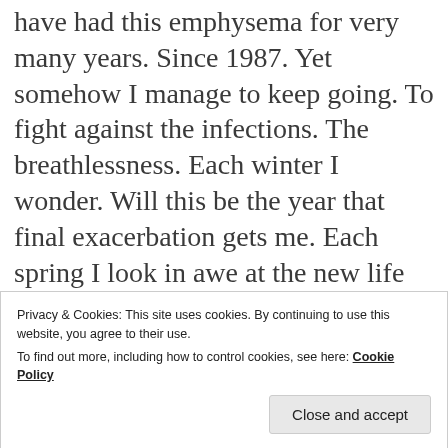have had this emphysema for very many years. Since 1987. Yet somehow I manage to keep going. To fight against the infections. The breathlessness. Each winter I wonder. Will this be the year that final exacerbation gets me. Each spring I look in awe at the new life growing, glad that once again I have survived the long winter nights. I hope to see more of your blogs. And know how much of a fighter you are.
Privacy & Cookies: This site uses cookies. By continuing to use this website, you agree to their use. To find out more, including how to control cookies, see here: Cookie Policy